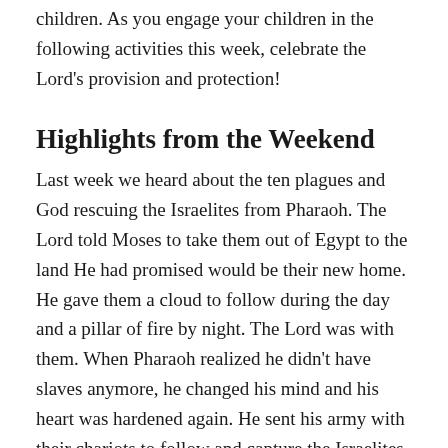children. As you engage your children in the following activities this week, celebrate the Lord's provision and protection!
Highlights from the Weekend
Last week we heard about the ten plagues and God rescuing the Israelites from Pharaoh. The Lord told Moses to take them out of Egypt to the land He had promised would be their new home. He gave them a cloud to follow during the day and a pillar of fire by night. The Lord was with them. When Pharaoh realized he didn't have slaves anymore, he changed his mind and his heart was hardened again. He sent his army with their chariots to follow and capture the Israelites and bring them back to Egypt. The Israelites were afraid and cried out to the Lord when